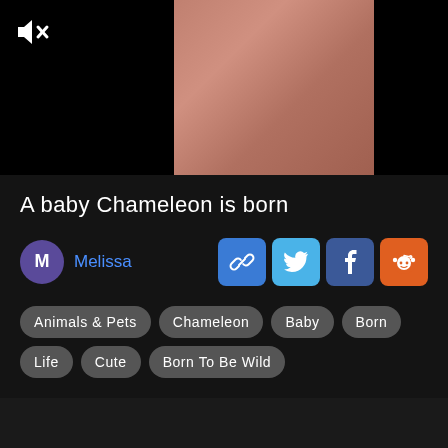[Figure (screenshot): Video player area showing a partially visible video thumbnail of a chameleon/skin texture in pinkish-brown color, with a black background on sides. A mute icon (speaker with X) is shown in the top-left corner.]
A baby Chameleon is born
M Melissa
[Figure (infographic): Share buttons row: link/chain icon (blue), Twitter bird icon (light blue), Facebook f icon (dark blue), Reddit alien icon (orange)]
Animals & Pets
Chameleon
Baby
Born
Life
Cute
Born To Be Wild